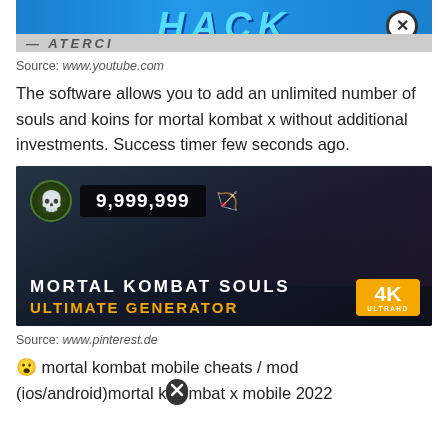[Figure (screenshot): Top portion of a YouTube hack advertisement showing 'HACK' text in blue with a close button]
Source: www.youtube.com
The software allows you to add an unlimited number of souls and koins for mortal kombat x without additional investments. Success timer few seconds ago.
[Figure (screenshot): Mortal Kombat Souls Ultimate Generator advertisement showing 9,999,999 souls, characters, MORTAL KOMBAT SOULS ULTIMATE GENERATOR text, and 4K UltraHD badge]
Source: www.pinterest.de
😮 mortal kombat mobile cheats / mod (ios/android)mortal kombat x mobile 2022